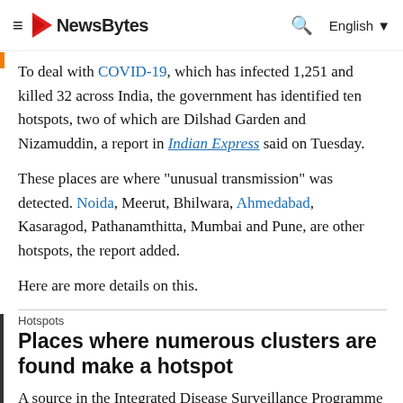NewsBytes — English
To deal with COVID-19, which has infected 1,251 and killed 32 across India, the government has identified ten hotspots, two of which are Dilshad Garden and Nizamuddin, a report in Indian Express said on Tuesday.
These places are where "unusual transmission" was detected. Noida, Meerut, Bhilwara, Ahmedabad, Kasaragod, Pathanamthitta, Mumbai and Pune, are other hotspots, the report added.
Here are more details on this.
Hotspots
Places where numerous clusters are found make a hotspot
A source in the Integrated Disease Surveillance Programme explained to the daily that an area having several clusters is identified as a hotspot. A cluster is a